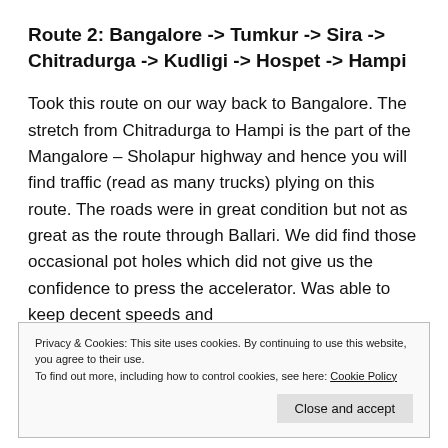Route 2: Bangalore -> Tumkur -> Sira -> Chitradurga -> Kudligi -> Hospet -> Hampi
Took this route on our way back to Bangalore. The stretch from Chitradurga to Hampi is the part of the Mangalore – Sholapur highway and hence you will find traffic (read as many trucks) plying on this route. The roads were in great condition but not as great as the route through Ballari. We did find those occasional pot holes which did not give us the confidence to press the accelerator. Was able to keep decent speeds and
Privacy & Cookies: This site uses cookies. By continuing to use this website, you agree to their use. To find out more, including how to control cookies, see here: Cookie Policy